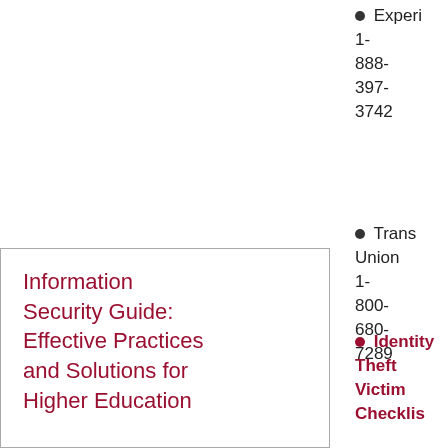Experi 1-888-397-3742
Trans Union 1-800-680-7289
Identity Theft Victim Checklis
Information Security Guide: Effective Practices and Solutions for Higher Education